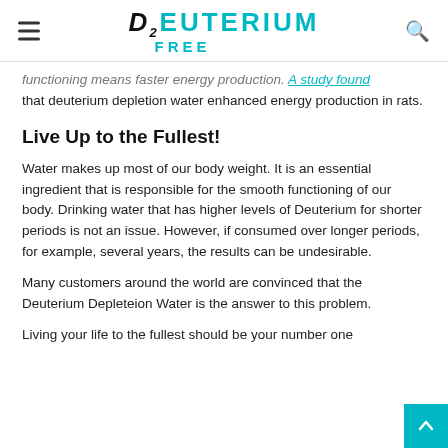D2EUTERIUM FREE
functioning means faster energy production. A study found that deuterium depletion water enhanced energy production in rats.
Live Up to the Fullest!
Water makes up most of our body weight. It is an essential ingredient that is responsible for the smooth functioning of our body. Drinking water that has higher levels of Deuterium for shorter periods is not an issue. However, if consumed over longer periods, for example, several years, the results can be undesirable.
Many customers around the world are convinced that the Deuterium Depleteion Water is the answer to this problem.
Living your life to the fullest should be your number one